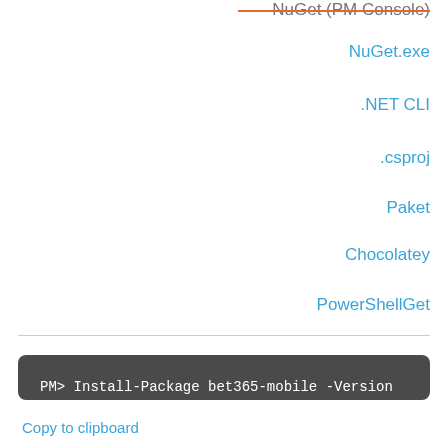NuGet (PM Console)
NuGet.exe
.NET CLI
.csproj
Paket
Chocolatey
PowerShellGet
PM> Install-Package bet365-mobile -Version 1.44.0 -Source https://www.myget.org/F/hu-play/api/v3/index.json
Copy to clipboard